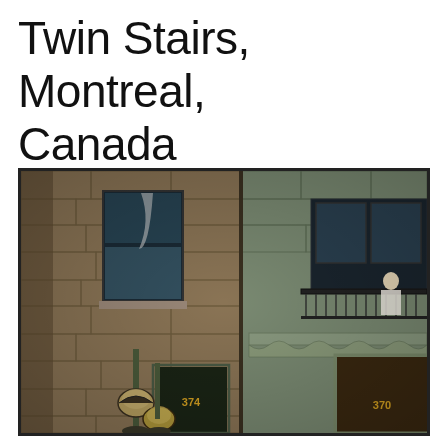Twin Stairs, Montreal, Canada
[Figure (photo): Black-and-white HDR photograph of the facade of old stone buildings in Montreal, Canada. Two adjacent buildings with large cut-stone walls, windows with blue-tinted glass and white curtains, an iron balcony railing, ornate green-painted door frames with the addresses 374 and 370 visible in gold numerals, and vintage street lanterns in the foreground.]